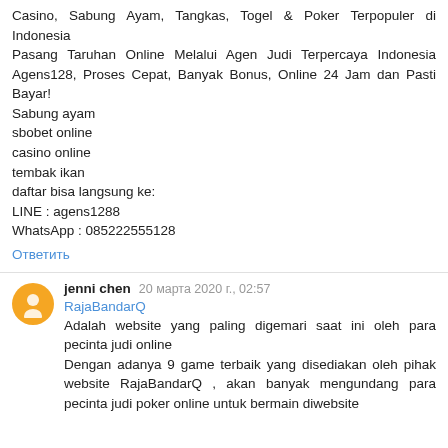Casino, Sabung Ayam, Tangkas, Togel & Poker Terpopuler di Indonesia
Pasang Taruhan Online Melalui Agen Judi Terpercaya Indonesia Agens128, Proses Cepat, Banyak Bonus, Online 24 Jam dan Pasti Bayar!
Sabung ayam
sbobet online
casino online
tembak ikan
daftar bisa langsung ke:
LINE : agens1288
WhatsApp : 085222555128
Ответить
jenni chen 20 марта 2020 г., 02:57
RajaBandarQ
Adalah website yang paling digemari saat ini oleh para pecinta judi online
Dengan adanya 9 game terbaik yang disediakan oleh pihak website RajaBandarQ , akan banyak mengundang para pecinta judi poker online untuk bermain diwebsite